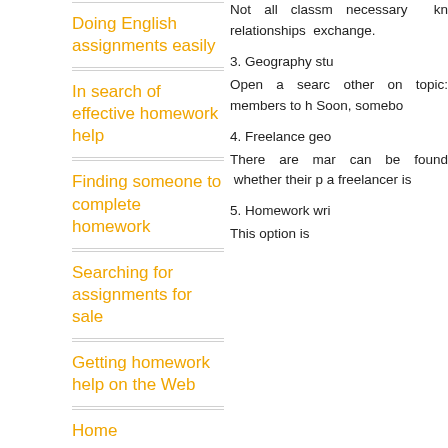Doing English assignments easily
In search of effective homework help
Finding someone to complete homework
Searching for assignments for sale
Getting homework help on the Web
Home
Not all classm necessary kn relationships  exchange.
3. Geography stu
Open a searc other on topic members to h Soon, somebo
4. Freelance geo
There are mar can be found  whether their p a freelancer is
5. Homework wri
This option is